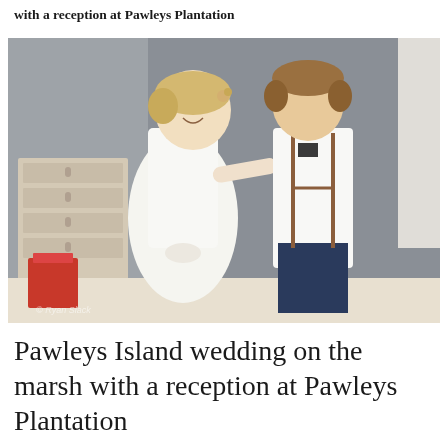with a reception at Pawleys Plantation
[Figure (photo): A young flower girl in a white dress with a bow adjusts the bow tie of a young ring bearer in a white shirt and navy pants with brown suspenders. They are facing each other and smiling. The setting appears to be an indoor getting-ready room.]
Pawleys Island wedding on the marsh with a reception at Pawleys Plantation